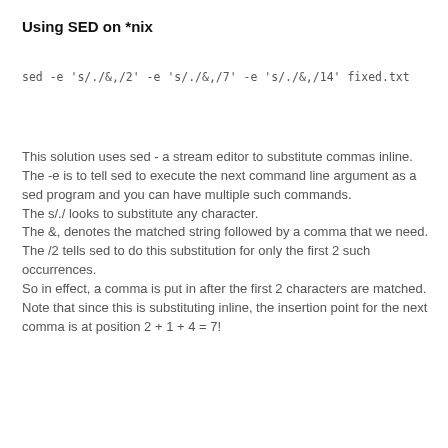Using SED on *nix
This solution uses sed - a stream editor to substitute commas inline.
The -e is to tell sed to execute the next command line argument as a sed program and you can have multiple such commands.
The s/./ looks to substitute any character.
The &, denotes the matched string followed by a comma that we need.
The /2 tells sed to do this substitution for only the first 2 such occurrences.
So in effect, a comma is put in after the first 2 characters are matched. Note that since this is substituting inline, the insertion point for the next comma is at position 2 + 1 + 4 = 7!